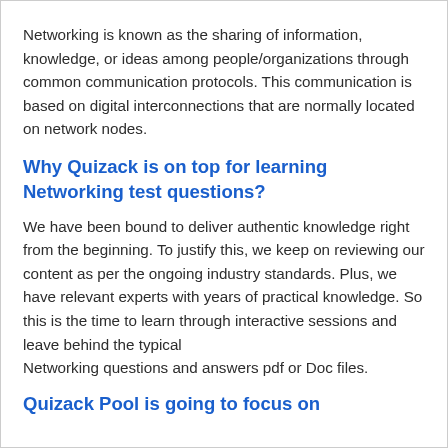Networking is known as the sharing of information, knowledge, or ideas among people/organizations through common communication protocols. This communication is based on digital interconnections that are normally located on network nodes.
Why Quizack is on top for learning Networking test questions?
We have been bound to deliver authentic knowledge right from the beginning. To justify this, we keep on reviewing our content as per the ongoing industry standards. Plus, we have relevant experts with years of practical knowledge. So this is the time to learn through interactive sessions and leave behind the typical
Networking questions and answers pdf or Doc files.
Quizack Pool is going to focus on